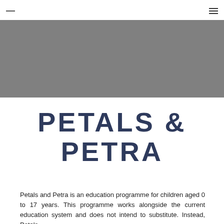[Figure (photo): Grey banner hero image placeholder]
PETALS & PETRA
Petals and Petra is an education programme for children aged 0 to 17 years. This programme works alongside the current education system and does not intend to substitute. Instead, Petals